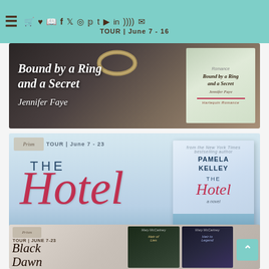Navigation bar with hamburger menu and social icons
TOUR | June 7 - 16
[Figure (illustration): Book tour banner for 'Bound by a Ring and a Secret' by Jennifer Faye. Dark wood background with wedding ring image. Text reads: Bound by a Ring and a Secret, Jennifer Faye. Book cover shown on right with woman and dog.]
[Figure (illustration): Book tour banner for 'The Hotel' by Pamela Kelley. Light blue/ocean background. Prism Book Tours logo. TOUR | June 7-23. Large script 'Hotel' title in red. Book cover shown on right. PAMELA KELLEY author name at bottom.]
[Figure (illustration): Book tour banner for 'Black Dawn Series'. Prism Book Tours logo. TOUR | JUNE 7-23. Script title 'Black Dawn Series'. Two dark fantasy book covers shown on right by Mary McCartney.]